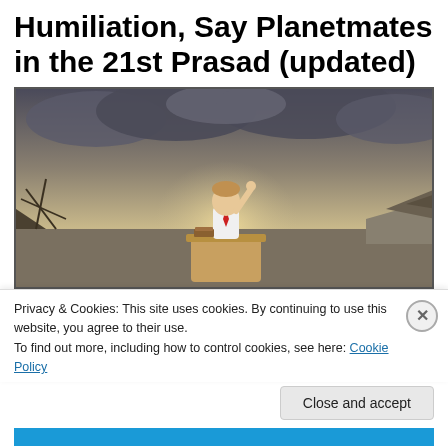Humiliation, Say Planetmates in the 21st Prasad (updated)
[Figure (photo): A child sitting at a school desk in a post-apocalyptic wasteland, raising one hand, with dramatic stormy sky and rubble in the background.]
Privacy & Cookies: This site uses cookies. By continuing to use this website, you agree to their use.
To find out more, including how to control cookies, see here: Cookie Policy
Close and accept